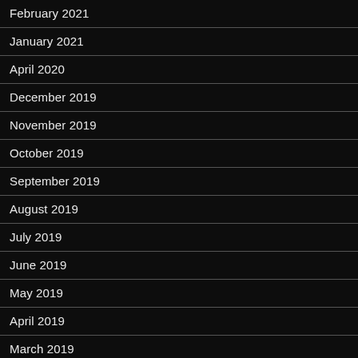February 2021
January 2021
April 2020
December 2019
November 2019
October 2019
September 2019
August 2019
July 2019
June 2019
May 2019
April 2019
March 2019